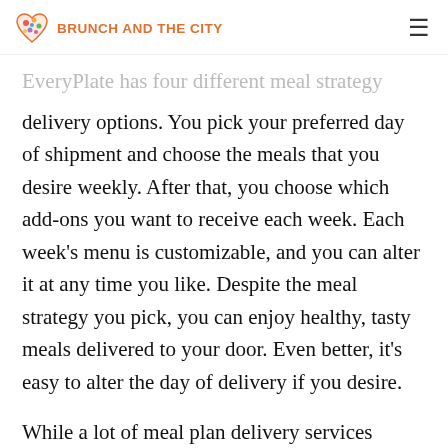BRUNCH AND THE CITY
EveryPlate has four different meal strategy delivery options. You pick your preferred day of shipment and choose the meals that you desire weekly. After that, you choose which add-ons you want to receive each week. Each week's menu is customizable, and you can alter it at any time you like. Despite the meal strategy you pick, you can enjoy healthy, tasty meals delivered to your door. Even better, it's easy to alter the day of delivery if you desire.
While a lot of meal plan delivery services